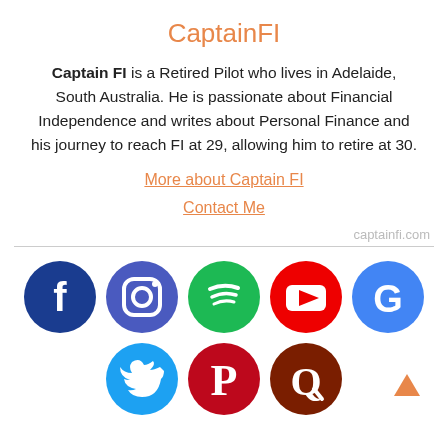CaptainFI
Captain FI is a Retired Pilot who lives in Adelaide, South Australia. He is passionate about Financial Independence and writes about Personal Finance and his journey to reach FI at 29, allowing him to retire at 30.
More about Captain FI
Contact Me
captainfi.com
[Figure (illustration): Row of social media icons: Facebook (dark blue), Instagram (purple-blue), Spotify (green), YouTube (red), Google (blue); second row: Twitter (light blue), Pinterest (dark red), Quora (dark brown-red)]